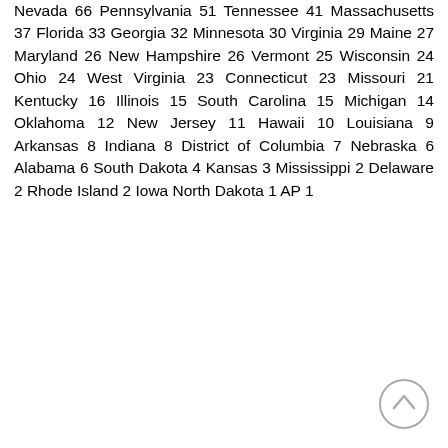Nevada 66 Pennsylvania 51 Tennessee 41 Massachusetts 37 Florida 33 Georgia 32 Minnesota 30 Virginia 29 Maine 27 Maryland 26 New Hampshire 26 Vermont 25 Wisconsin 24 Ohio 24 West Virginia 23 Connecticut 23 Missouri 21 Kentucky 16 Illinois 15 South Carolina 15 Michigan 14 Oklahoma 12 New Jersey 11 Hawaii 10 Louisiana 9 Arkansas 8 Indiana 8 District of Columbia 7 Nebraska 6 Alabama 6 South Dakota 4 Kansas 3 Mississippi 2 Delaware 2 Rhode Island 2 Iowa North Dakota 1 AP 1